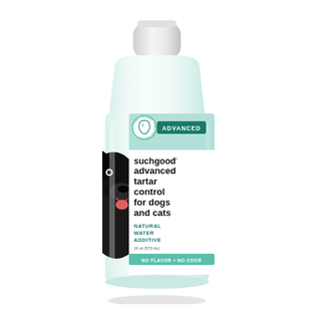[Figure (photo): A transparent plastic bottle of 'suchgood advanced tartar control for dogs and cats' natural water additive, 19 oz (573 mL). The bottle features a white cap, a mint/teal and white label with a tooth icon and 'ADVANCED' badge in teal, product name in large bold black text, 'NATURAL WATER ADDITIVE' in teal uppercase, size info, and a 'NO FLAVOR + NO ODOR' stripe at the bottom. A black dog's face is visible on the left side of the label.]